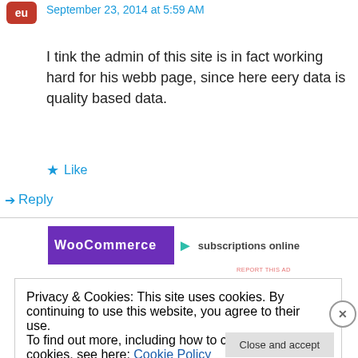September 23, 2014 at 5:59 AM
I tink the admin of this site is in fact working hard for his webb page, since here eery data is quality based data.
Like
Reply
[Figure (screenshot): WooCommerce ad banner with purple and teal colors showing 'subscriptions online']
REPORT THIS AD
Privacy & Cookies: This site uses cookies. By continuing to use this website, you agree to their use.
To find out more, including how to control cookies, see here: Cookie Policy
Close and accept